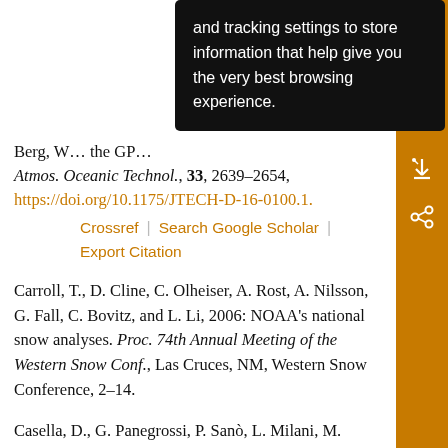Berg, W. … of the GPM … Atmos. Oceanic Technol., 33, 2639–2654, https://doi.org/10.1175/JTECH-D-16-0100.1.
Crossref | Search Google Scholar | Export Citation
Carroll, T., D. Cline, C. Olheiser, A. Rost, A. Nilsson, G. Fall, C. Bovitz, and L. Li, 2006: NOAA's national snow analyses. Proc. 74th Annual Meeting of the Western Snow Conf., Las Cruces, NM, Western Snow Conference, 2–14.
Casella, D., G. Panegrossi, P. Sanò, L. Milani, M.
[Figure (screenshot): Dark tooltip overlay with white text: 'and tracking settings to store information that help give you the very best browsing experience.']